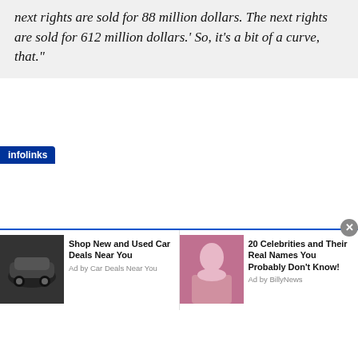next rights are sold for 88 million dollars. The next rights are sold for 612 million dollars.' So, it's a bit of a curve, that."
[Figure (screenshot): Large display text reading 'Conflict of' in a light thin sans-serif font, appearing as part of a webpage with an infolinks advertisement bar below showing two ad items: 'Shop New and Used Car Deals Near You' and '20 Celebrities and Their Real Names You Probably Don't Know!']